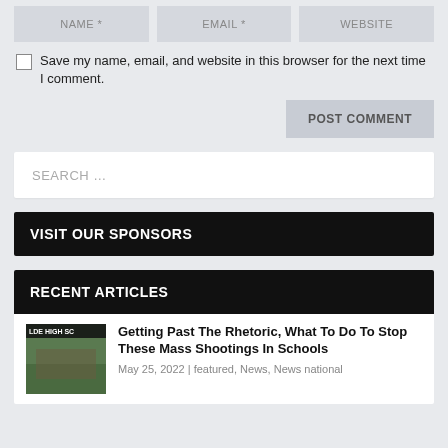NAME *
EMAIL *
WEBSITE
Save my name, email, and website in this browser for the next time I comment.
POST COMMENT
SEARCH ...
VISIT OUR SPONSORS
RECENT ARTICLES
Getting Past The Rhetoric, What To Do To Stop These Mass Shootings In Schools
May 25, 2022 | featured, News, News national